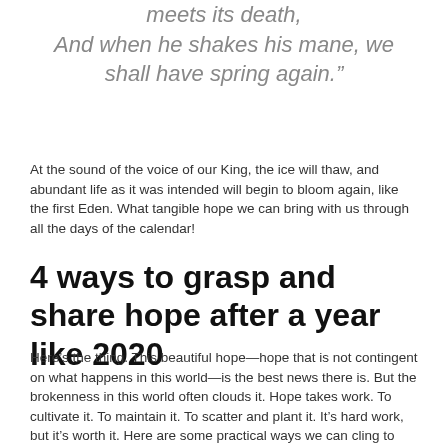meets its death, And when he shakes his mane, we shall have spring again.”
At the sound of the voice of our King, the ice will thaw, and abundant life as it was intended will begin to bloom again, like the first Eden. What tangible hope we can bring with us through all the days of the calendar!
4 ways to grasp and share hope after a year like 2020
Here’s the thing. This beautiful hope—hope that is not contingent on what happens in this world—is the best news there is. But the brokenness in this world often clouds it. Hope takes work. To cultivate it. To maintain it. To scatter and plant it. It’s hard work, but it’s worth it. Here are some practical ways we can cling to and scatter hope to our neighbours at the beginning of a brand-new, perhaps uncertain year.